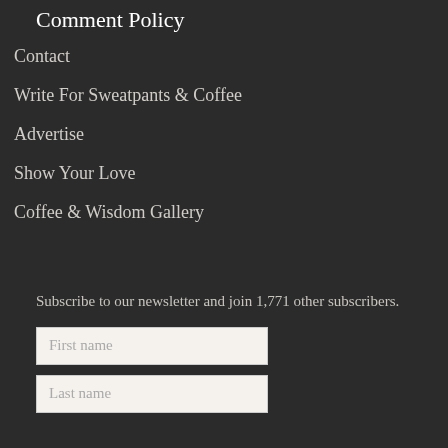Comment Policy
Contact
Write For Sweatpants & Coffee
Advertise
Show Your Love
Coffee & Wisdom Gallery
Subscribe to our newsletter and join 1,771 other subscribers.
First name
Last name